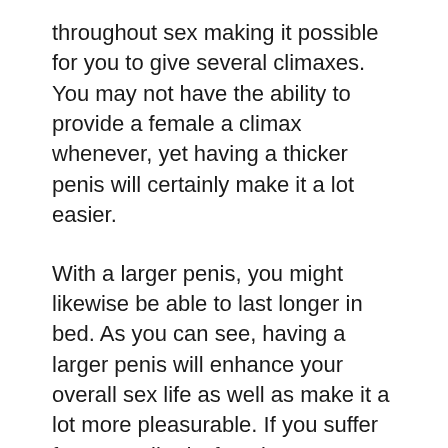throughout sex making it possible for you to give several climaxes. You may not have the ability to provide a female a climax whenever, yet having a thicker penis will certainly make it a lot easier.
With a larger penis, you might likewise be able to last longer in bed. As you can see, having a larger penis will enhance your overall sex life as well as make it a lot more pleasurable. If you suffer from erectile dysfunction or one more sexual trouble, you might wish to check out all the products that are offered to you. Having a bigger penis will certainly likewise assist you avoid impotence during intercourse, which can bring about numerous issues throughout sexual intercourse.